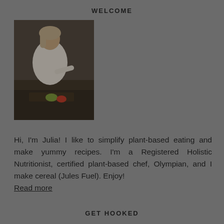WELCOME
[Figure (photo): Dark-toned photo of a woman with light hair wearing a white top, preparing food at a kitchen counter with vegetables and a cutting board]
Hi, I'm Julia! I like to simplify plant-based eating and make yummy recipes. I'm a Registered Holistic Nutritionist, certified plant-based chef, Olympian, and I make cereal (Jules Fuel). Enjoy! Read more
GET HOOKED